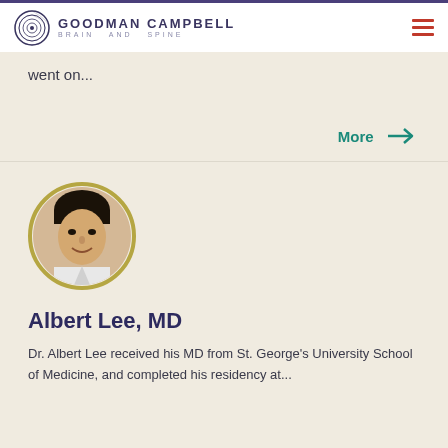GOODMAN CAMPBELL BRAIN AND SPINE
went on...
More →
[Figure (photo): Circular headshot photo of Dr. Albert Lee, MD, with a gold/khaki circular border]
Albert Lee, MD
Dr. Albert Lee received his MD from St. George's University School of Medicine, and completed his residency at...